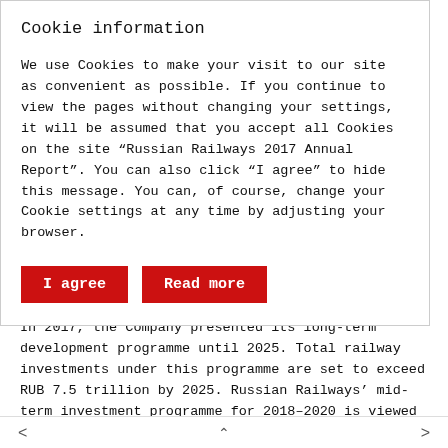Cookie information
We use Cookies to make your visit to our site as convenient as possible. If you continue to view the pages without changing your settings, it will be assumed that you accept all Cookies on the site “Russian Railways 2017 Annual Report”. You can also click “I agree” to hide this message. You can, of course, change your Cookie settings at any time by adjusting your browser.
I agree | Read more
In 2017, the Company presented its long-term development programme until 2025. Total railway investments under this programme are set to exceed RUB 7.5 trillion by 2025. Russian Railways’ mid-term investment programme for 2018–2020 is viewed
< ⌃ >